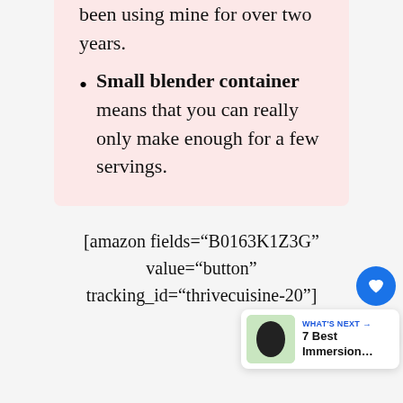been using mine for over two years.
Small blender container means that you can really only make enough for a few servings.
[amazon fields="B0163K1Z3G" value="button" tracking_id="thrivecuisine-20"]